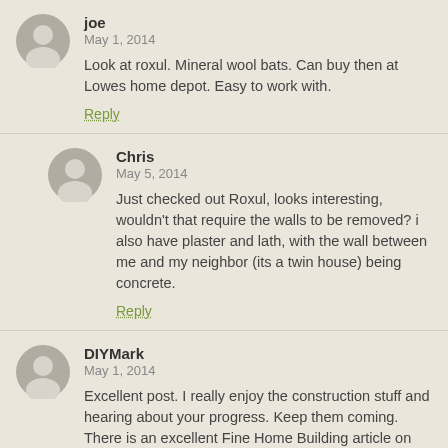joe
May 1, 2014
Look at roxul. Mineral wool bats. Can buy then at Lowes home depot. Easy to work with.
Reply
Chris
May 5, 2014
Just checked out Roxul, looks interesting, wouldn't that require the walls to be removed? i also have plaster and lath, with the wall between me and my neighbor (its a twin house) being concrete.
Reply
DIYMark
May 1, 2014
Excellent post. I really enjoy the construction stuff and hearing about your progress. Keep them coming. There is an excellent Fine Home Building article on "Flash and